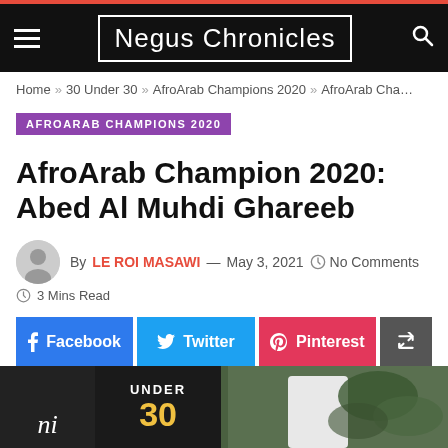Negus Chronicles
Home » 30 Under 30 » AfroArab Champions 2020 » AfroArab Cha...
AFROARAB CHAMPIONS 2020
AfroArab Champion 2020: Abed Al Muhdi Ghareeb
By LE ROI MASAWI — May 3, 2021  No Comments  3 Mins Read
Facebook  Twitter  Pinterest
[Figure (photo): Bottom strip showing partial text '30 UNDER 30' and a person in a white shirt with greenery background]